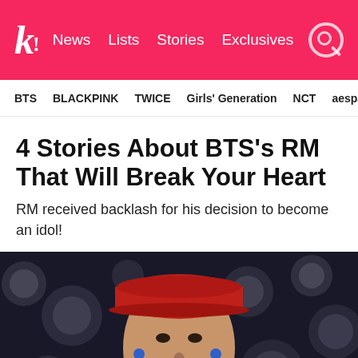k! News Lists Stories Exclusives
BTS  BLACKPINK  TWICE  Girls' Generation  NCT  aespa
4 Stories About BTS's RM That Will Break Your Heart
RM received backlash for his decision to become an idol!
[Figure (photo): Close-up photo of BTS member RM wearing a red baseball cap and blue in-ear monitors, performing on stage with bokeh lights in the background]